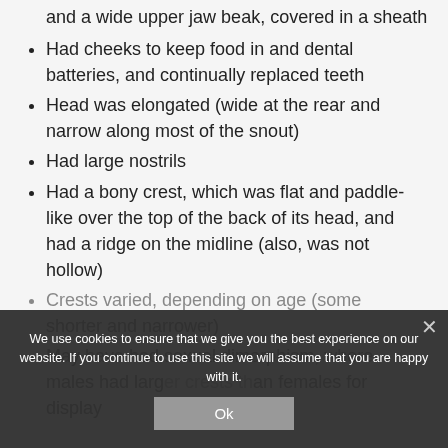and a wide upper jaw beak, covered in a sheath
Had cheeks to keep food in and dental batteries, and continually replaced teeth
Head was elongated (wide at the rear and narrow along most of the snout)
Had large nostrils
Had a bony crest, which was flat and paddle-like over the top of the back of its head, and had a ridge on the midline (also, was not hollow)
Crests varied, depending on age (some shorter and narrower)
May have had sexual dimorphism, where males had larger crests than females for display